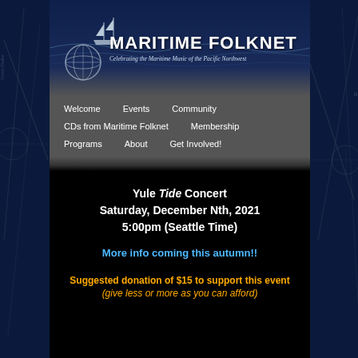[Figure (logo): Maritime Folknet logo with sailing ship and globe icon, dark nautical map background]
MARITIME FOLKNET
Celebrating the Maritime Music of the Pacific Northwest
Welcome
Events
Community
CDs from Maritime Folknet
Membership
Programs
About
Get Involved!
Yule Tide Concert
Saturday, December Nth, 2021
5:00pm (Seattle Time)
More info coming this autumn!!
Suggested donation of $15 to support this event
(give less or more as you can afford)